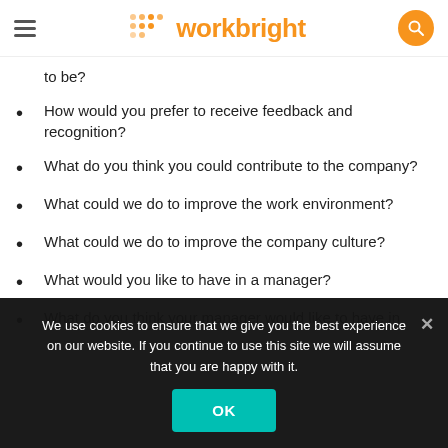workbright
to be?
How would you prefer to receive feedback and recognition?
What do you think you could contribute to the company?
What could we do to improve the work environment?
What could we do to improve the company culture?
What would you like to have in a manager?
What do you think your manager would like to have in
We use cookies to ensure that we give you the best experience on our website. If you continue to use this site we will assume that you are happy with it.